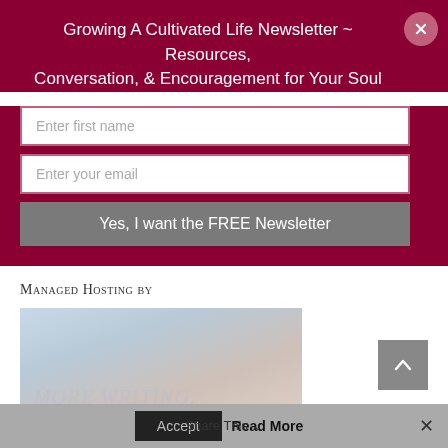Growing A Cultivated Life Newsletter ~ Resources, Conversation, & Encouragement for Your Soul
Enter first name
Enter your email
Yes, I want the FREE Newsletter
Managed Hosting by
[Figure (photo): Light blue-grey blurred background image with stylized italic text reading MORE WRITING.]
This website uses cookies to improve your experience. We'll assume you're ok with this, but you can opt-out if you wish.
Accept  Read More
Share This